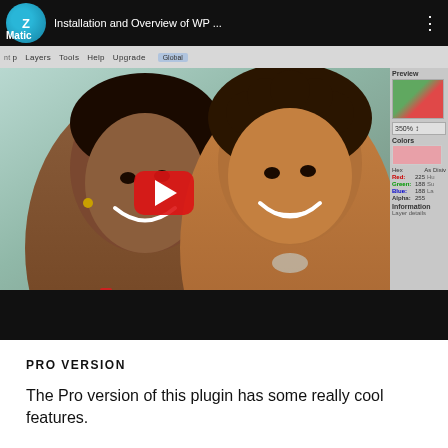[Figure (screenshot): YouTube-style video player showing a screenshot of a WordPress plugin interface titled 'Installation and Overview of WP ...' with a WP Matic logo, a photo of two smiling women, a red play button overlay, and a right panel showing color/preview tools.]
PRO VERSION
The Pro version of this plugin has some really cool features.